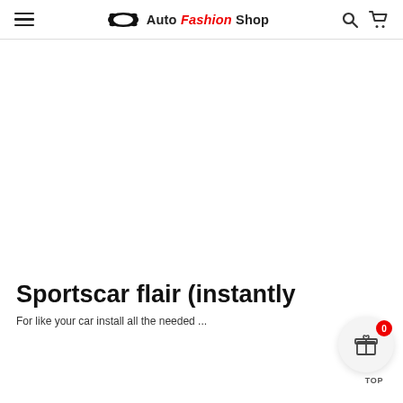Auto Fashion Shop
[Figure (other): Large white/blank product image area]
Sportscar flair (instantly
For like your car install all ...